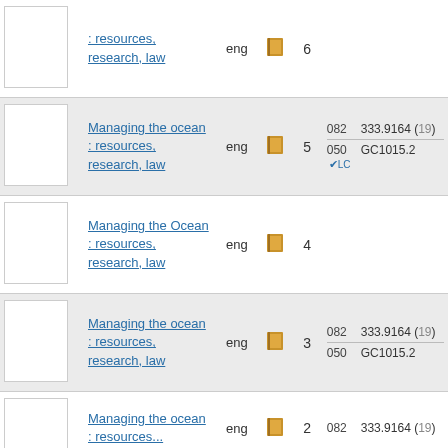| Thumbnail | Title | Lang | Icon | Count | Classification |
| --- | --- | --- | --- | --- | --- |
|  | : resources, research, law | eng | [book] | 6 |  |
|  | Managing the ocean : resources, research, law | eng | [book] | 5 | 082: 333.9164 (19)
050: GC1015.2 |
|  | Managing the Ocean : resources, research, law | eng | [book] | 4 |  |
|  | Managing the ocean : resources, research, law | eng | [book] | 3 | 082: 333.9164 (19)
050: GC1015.2 |
|  | Managing the ocean : resources, research, law | eng | [book] | 2 | 082: 333.9164 (19) |